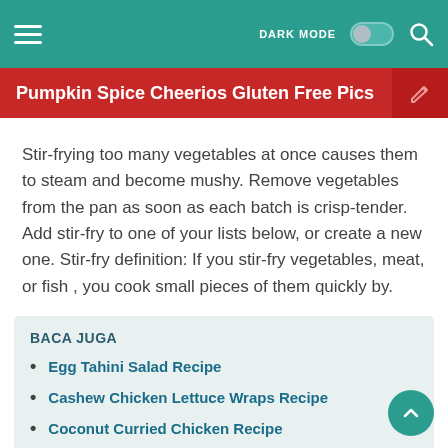DARK MODE [toggle] [search]
Pumpkin Spice Cheerios Gluten Free Pics
Stir-frying too many vegetables at once causes them to steam and become mushy. Remove vegetables from the pan as soon as each batch is crisp-tender. Add stir-fry to one of your lists below, or create a new one. Stir-fry definition: If you stir-fry vegetables, meat, or fish , you cook small pieces of them quickly by.
BACA JUGA
Egg Tahini Salad Recipe
Cashew Chicken Lettuce Wraps Recipe
Coconut Curried Chicken Recipe